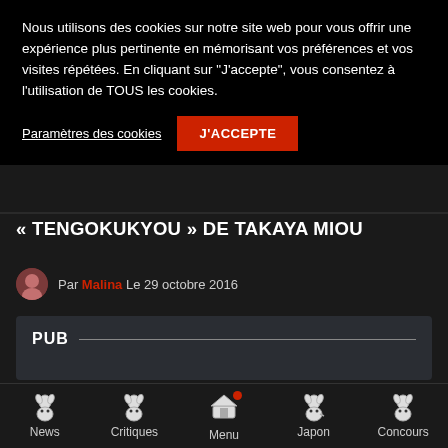Nous utilisons des cookies sur notre site web pour vous offrir une expérience plus pertinente en mémorisant vos préférences et vos visites répétées. En cliquant sur "J'accepte", vous consentez à l'utilisation de TOUS les cookies.
Paramètres des cookies | J'ACCEPTE
« TENGOKUKYOU » DE TAKAYA MIOU
Par Malina Le 29 octobre 2016
PUB
News | Critiques | Menu | Japon | Concours